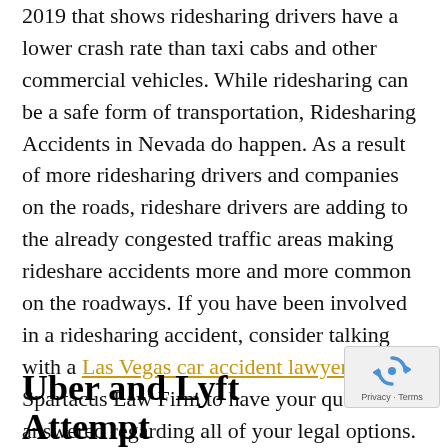2019 that shows ridesharing drivers have a lower crash rate than taxi cabs and other commercial vehicles. While ridesharing can be a safe form of transportation, Ridesharing Accidents in Nevada do happen. As a result of more ridesharing drivers and companies on the roads, rideshare drivers are adding to the already congested traffic areas making rideshare accidents more and more common on the roadways. If you have been involved in a ridesharing accident, consider talking with a Las Vegas car accident lawyer at Spartacus Law Firm to have your questions answered regarding all of your legal options.
[Figure (other): reCAPTCHA widget with rotating arrows icon and 'Privacy - Terms' text]
Uber and Lyft Attempt